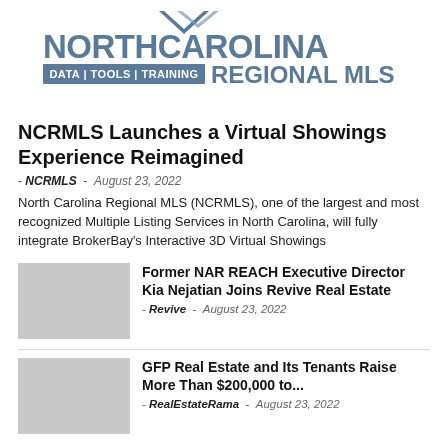[Figure (logo): North Carolina Regional MLS logo with chevron/arrow mark and tagline DATA | TOOLS | TRAINING]
NCRMLS Launches a Virtual Showings Experience Reimagined
- NCRMLS - August 23, 2022
North Carolina Regional MLS (NCRMLS), one of the largest and most recognized Multiple Listing Services in North Carolina, will fully integrate BrokerBay's Interactive 3D Virtual Showings
Former NAR REACH Executive Director Kia Nejatian Joins Revive Real Estate
- Revive - August 23, 2022
GFP Real Estate and Its Tenants Raise More Than $200,000 to...
- RealEstateRama - August 23, 2022